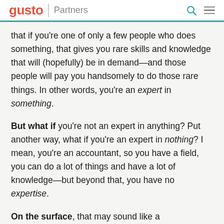gusto | Partners
that if you’re one of only a few people who does something, that gives you rare skills and knowledge that will (hopefully) be in demand—and those people will pay you handsomely to do those rare things. In other words, you’re an expert in something.
But what if you’re not an expert in anything? Put another way, what if you’re an expert in nothing? I mean, you’re an accountant, so you have a field, you can do a lot of things and have a lot of knowledge—but beyond that, you have no expertise.
On the surface, that may sound like a disadvantage, but a guy in Japan seems to have figured out how to make nothing work: